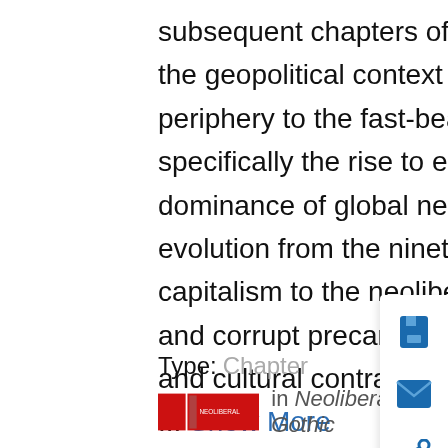subsequent chapters of this book. The book engages with the geopolitical context of the gothic's migration from the periphery to the fast-beating heart of popular culture, specifically the rise to economic and cultural pre-dominance of global neoliberalism. It traces the vampire's evolution from the nineteenth-century past of industrial capitalism to the neoliberal present's accelerated violence and corrupt precarity. The book explores the political, social and cultural contradictio
... Show More
Type: Chapter
in Neoliberal Gothic